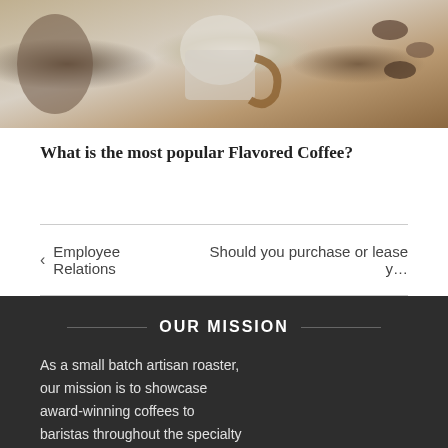[Figure (photo): Photo of coffee beans, a glass jar, and coffee brewing equipment on a light background]
What is the most popular Flavored Coffee?
‹ Employee Relations
Should you purchase or lease yo
OUR MISSION
As a small batch artisan roaster, our mission is to showcase award-winning coffees to baristas throughout the specialty coffee industry.
Now accepting PayPal for your